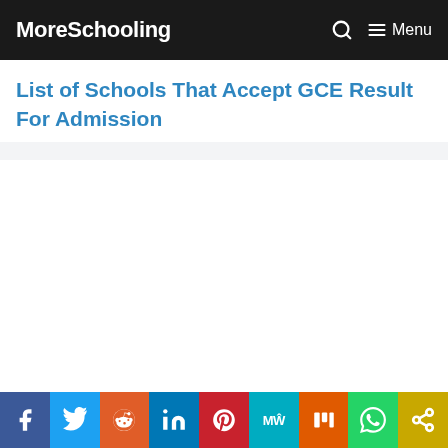MoreSchooling  Menu
List of Schools That Accept GCE Result For Admission
[Figure (screenshot): Empty white content area below the page title, representing an article page with no visible body content loaded]